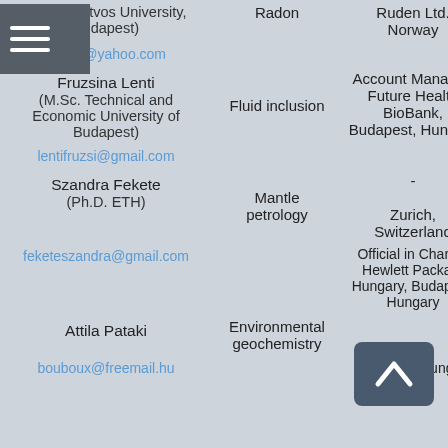(M.Sc. Eotvos University, Budapest)
Radon
Ruden Ltd.
Norway
ip3qal@yahoo.com
Fruzsina Lenti
Fluid inclusion
Account Manager, Future Health BioBank, Budapest, Hungary
(M.Sc. Technical and Economic University of Budapest)
lentifruzsi@gmail.com
Szandra Fekete
-
(Ph.D. ETH)
Mantle petrology
Zurich, Switzerland
feketeszandra@gmail.com
Official in Charge, Hewlett Packard Hungary, Budapest, Hungary
Attila Pataki
Environmental geochemistry
bouboux@freemail.hu